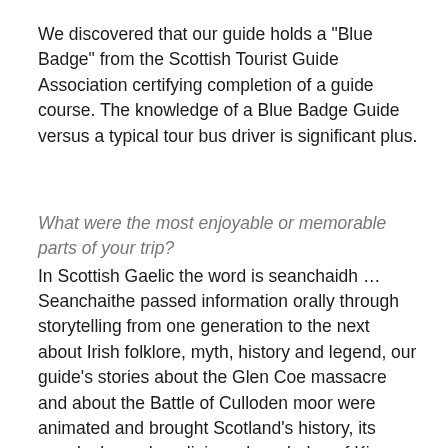We discovered that our guide holds a "Blue Badge" from the Scottish Tourist Guide Association certifying completion of a guide course. The knowledge of a Blue Badge Guide versus a typical tour bus driver is significant plus.
What were the most enjoyable or memorable parts of your trip?
In Scottish Gaelic the word is seanchaidh … Seanchaithe passed information orally through storytelling from one generation to the next about Irish folklore, myth, history and legend, our guide's stories about the Glen Coe massacre and about the Battle of Culloden moor were animated and brought Scotland's history, its people, legends, religions, knowledge of Kings and Clans and geology